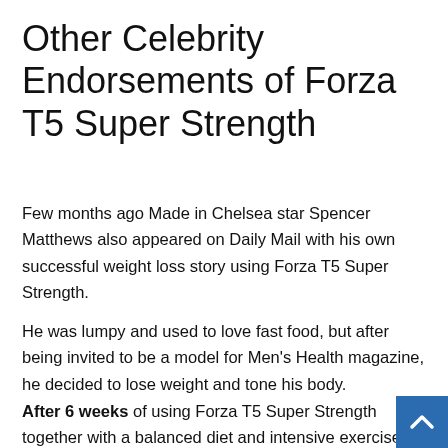Other Celebrity Endorsements of Forza T5 Super Strength
Few months ago Made in Chelsea star Spencer Matthews also appeared on Daily Mail with his own successful weight loss story using Forza T5 Super Strength.
He was lumpy and used to love fast food, but after being invited to be a model for Men's Health magazine, he decided to lose weight and tone his body.
After 6 weeks of using Forza T5 Super Strength together with a balanced diet and intensive exercises, he lost an incredible amount of 1 stone (6 kilos) of weight and